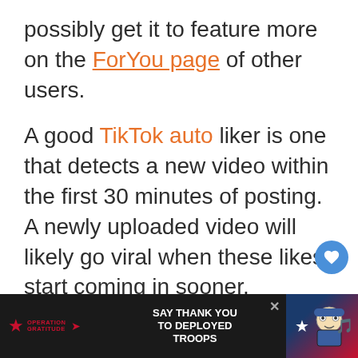possibly get it to feature more on the ForYou page of other users.
A good TikTok auto liker is one that detects a new video within the first 30 minutes of posting. A newly uploaded video will likely go viral when these likes start coming in sooner.
You also want to go for an auto lik
[Figure (screenshot): Operation Gratitude advertisement banner with text SAY THANK YOU TO DEPLOYED TROOPS on dark background]